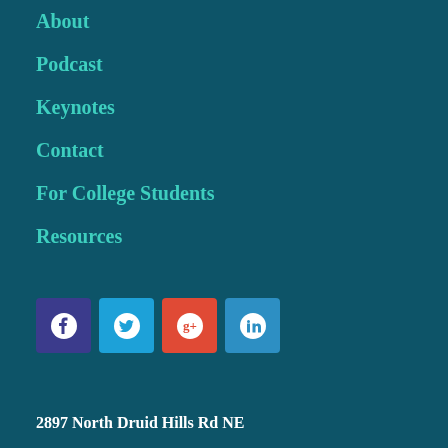About
Podcast
Keynotes
Contact
For College Students
Resources
[Figure (infographic): Four social media icon buttons in a row: Facebook (dark purple), Twitter (blue), Google+ (red/orange), LinkedIn (blue)]
2897 North Druid Hills Rd NE